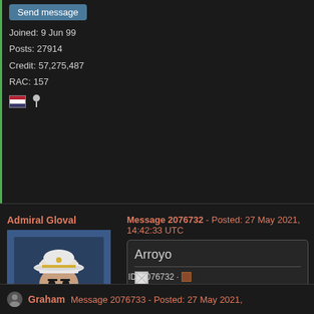Send message
Joined: 9 Jun 99
Posts: 27914
Credit: 57,275,487
RAC: 157
[Figure (other): US flag icon and award/pin icon]
Admiral Gloval
Message 2076732 - Posted: 27 May 2021, 14:42:33 UTC
[Figure (illustration): Avatar of Admiral Gloval character wearing white captain hat]
Send message
Joined: 31 Mar 13
Posts: 17629
Credit: 5,308,449
RAC: 0
[Figure (other): US flag icon]
Arroyo
[Figure (screenshot): BOINCstats widget showing invalid id error: ID is incorrect]
ID: 2076732 ·
Graham
Message 2076733 - Posted: 27 May 2021,